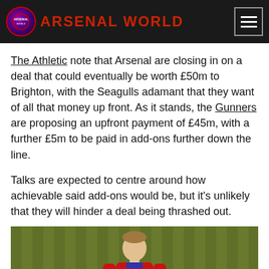Arsenal World
The Athletic note that Arsenal are closing in on a deal that could eventually be worth £50m to Brighton, with the Seagulls adamant that they want of all that money up front. As it stands, the Gunners are proposing an upfront payment of £45m, with a further £5m to be paid in add-ons further down the line.
Talks are expected to centre around how achievable said add-ons would be, but it's unlikely that they will hinder a deal being thrashed out.
[Figure (photo): A footballer wearing a red England national team shirt with the Three Lions badge, standing on a grass pitch]